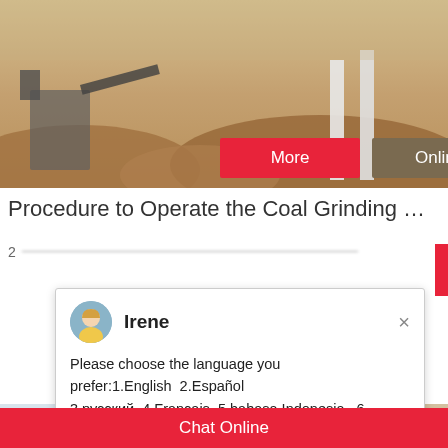[Figure (photo): Industrial mining/quarry site with machinery and material piles, with 'More' and 'Online Chat' buttons overlaid]
Procedure to Operate the Coal Grinding Mill -…
2
[Figure (screenshot): Chat popup with avatar of Irene, message: Please choose the language you prefer:1.English  2.Español 3.русский  4.Français  5.bahasa Indonesia   6. عربسعربي]
shaft liner, slope liner, drill liner, and surface…
[Figure (photo): Industrial building with large vertical pillars/columns]
[Figure (photo): Customer service representative with headset; blue badge with number 1; 'Need questions & suggestion?' text and 'Chat Now' button]
Chat Online